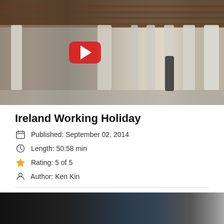[Figure (screenshot): Video thumbnail showing a classical colonnade corridor with a person walking. A red YouTube play button is overlaid in the center-left.]
Ireland Working Holiday
Published: September 02, 2014
Length: 50:58 min
Rating: 5 of 5
Author: Ken Kin
[Figure (screenshot): Dark video thumbnail, partially visible at bottom of page.]